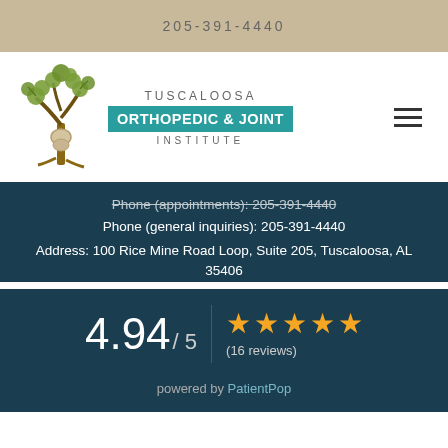205-391-4440
[Figure (logo): Tuscaloosa Orthopedic & Joint Institute logo with tree illustration]
Phone (appointments): 205-391-4440
Phone (general inquiries): 205-391-4440
Address: 100 Rice Mine Road Loop, Suite 205, Tuscaloosa, AL 35406
4.94 / 5  ★★★★★  (16 reviews)
powered by PatientPop